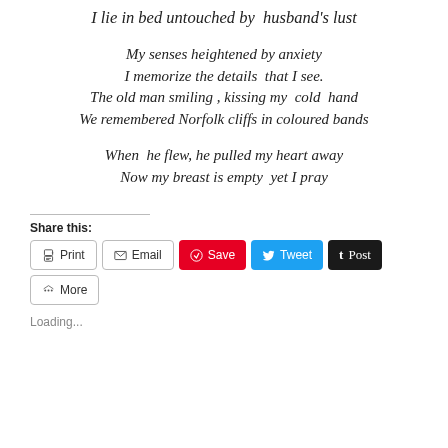I lie in bed untouched by  husband's lust
My senses heightened by anxiety
I memorize the details  that I see.
The old man smiling , kissing my  cold  hand
We remembered Norfolk cliffs in coloured bands
When  he flew, he pulled my heart away
Now my breast is empty  yet I pray
Share this:
Print  Email  Save  Tweet  Post  More
Loading...